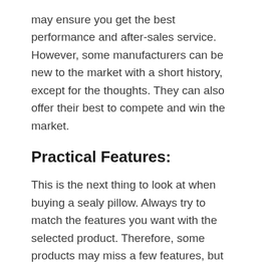may ensure you get the best performance and after-sales service. However, some manufacturers can be new to the market with a short history, except for the thoughts. They can also offer their best to compete and win the market.
Practical Features:
This is the next thing to look at when buying a sealy pillow. Always try to match the features you want with the selected product. Therefore, some products may miss a few features, but still, they can be efficient for your project. Our suggestion is to look for the top or mandatory features of the multiple products. Then, you can compare and select the specific product having the most